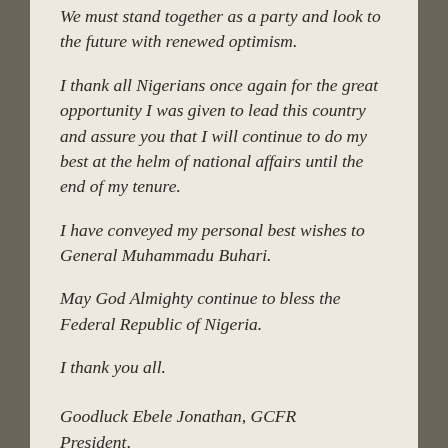We must stand together as a party and look to the future with renewed optimism.
I thank all Nigerians once again for the great opportunity I was given to lead this country and assure you that I will continue to do my best at the helm of national affairs until the end of my tenure.
I have conveyed my personal best wishes to General Muhammadu Buhari.
May God Almighty continue to bless the Federal Republic of Nigeria.
I thank you all.
Goodluck Ebele Jonathan, GCFR
President,